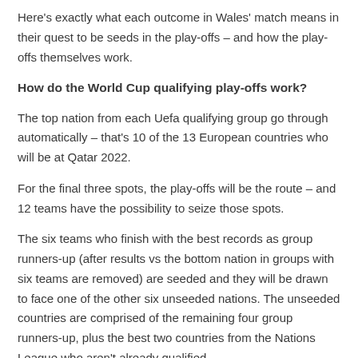Here's exactly what each outcome in Wales' match means in their quest to be seeds in the play-offs – and how the play-offs themselves work.
How do the World Cup qualifying play-offs work?
The top nation from each Uefa qualifying group go through automatically – that's 10 of the 13 European countries who will be at Qatar 2022.
For the final three spots, the play-offs will be the route – and 12 teams have the possibility to seize those spots.
The six teams who finish with the best records as group runners-up (after results vs the bottom nation in groups with six teams are removed) are seeded and they will be drawn to face one of the other six unseeded nations. The unseeded countries are comprised of the remaining four group runners-up, plus the best two countries from the Nations League who aren't already qualified